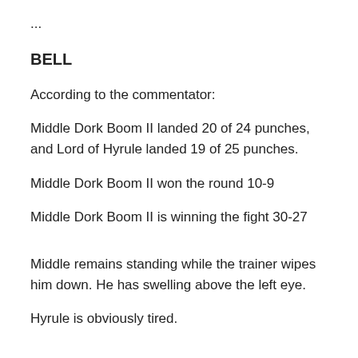...
BELL
According to the commentator:
Middle Dork Boom II landed 20 of 24 punches, and Lord of Hyrule landed 19 of 25 punches.
Middle Dork Boom II won the round 10-9
Middle Dork Boom II is winning the fight 30-27
Middle remains standing while the trainer wipes him down. He has swelling above the left eye.
Hyrule is obviously tired.